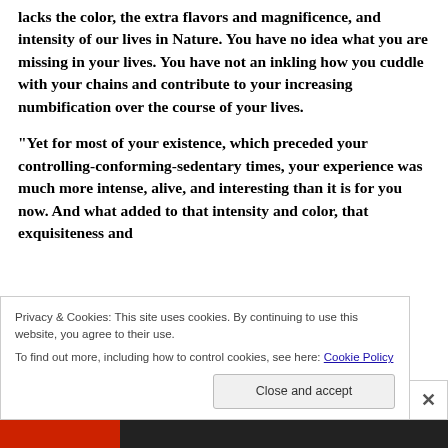lacks the color, the extra flavors and magnificence, and intensity of our lives in Nature. You have no idea what you are missing in your lives. You have not an inkling how you cuddle with your chains and contribute to your increasing numbification over the course of your lives.

“Yet for most of your existence, which preceded your controlling-conforming-sedentary times, your experience was much more intense, alive, and interesting than it is for you now. And what added to that intensity and color, that exquisiteness and
Privacy & Cookies: This site uses cookies. By continuing to use this website, you agree to their use.
To find out more, including how to control cookies, see here: Cookie Policy
Close and accept